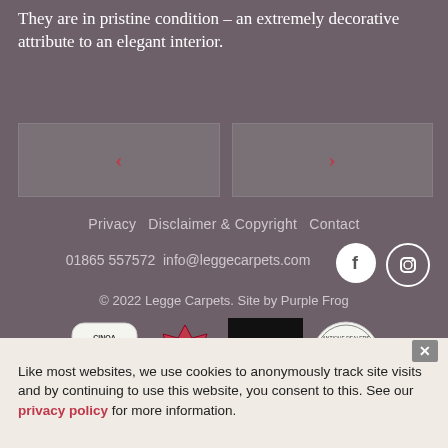They are in pristine condition – an extremely decorative attribute to an elegant interior.
[Figure (other): Navigation arrows left and right on dark background panels]
Privacy  Disclaimer & Copyright  Contact
01865 557572  info@leggecarpets.com
© 2022 Legge Carpets. Site by Purple Frog
[Figure (other): Four association logos: CINOA, red seal, JAN-KATH black logo, Antique Dealers Association]
Like most websites, we use cookies to anonymously track site visits and by continuing to use this website, you consent to this. See our privacy policy for more information.